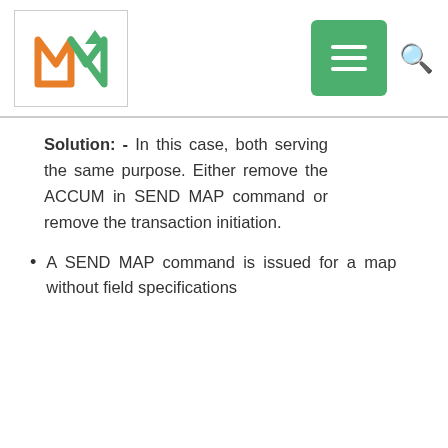Navigation bar with logo and menu icons
Solution: - In this case, both serving the same purpose. Either remove the ACCUM in SEND MAP command or remove the transaction initiation.
A SEND MAP command is issued for a map without field specifications